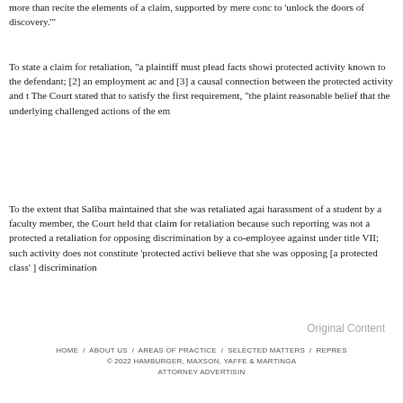more than recite the elements of a claim, supported by mere conclusory statements, to 'unlock the doors of discovery.'"
To state a claim for retaliation, "a plaintiff must plead facts showing [1] participation in a protected activity known to the defendant; [2] an employment action that disadvantaged her; and [3] a causal connection between the protected activity and the adverse employment action." The Court stated that to satisfy the first requirement, "the plaintiff must have had a reasonable belief that the underlying challenged actions of the employer violated the law."
To the extent that Saliba maintained that she was retaliated against for reporting sexual harassment of a student by a faculty member, the Court held that she failed to establish a claim for retaliation because such reporting was not a protected activity. The Court noted that retaliation for opposing discrimination by a co-employee against a non-employee is not covered under title VII; such activity does not constitute 'protected activity' unless the plaintiff could believe that she was opposing [a protected class' ] discrimination by her employer.
Original Content
HOME  /  ABOUT US  /  AREAS OF PRACTICE  /  SELECTED MATTERS  /  REPRES...
© 2022 HAMBURGER, MAXSON, YAFFE & MARTINGA...
ATTORNEY ADVERTISIN...